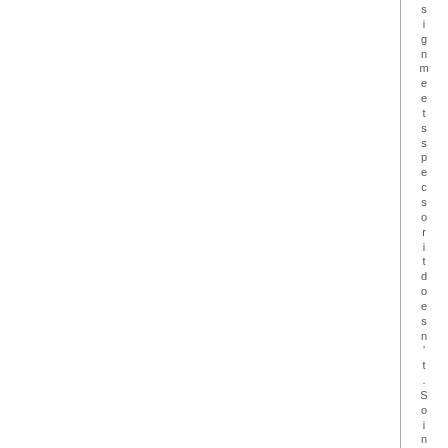signmeetsspecs or it doesn't. So in es